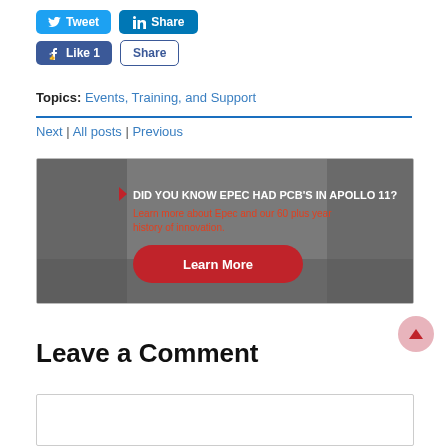[Figure (other): Social media sharing buttons: Tweet (Twitter), Share (LinkedIn), Like 1 (Facebook), Share (Facebook)]
Topics: Events, Training, and Support
Next | All posts | Previous
[Figure (other): Advertisement banner with moon landing background image. Text: DID YOU KNOW EPEC HAD PCB'S IN APOLLO 11? Learn more about Epec and our 60 plus year history of innovation. Learn More button.]
Leave a Comment